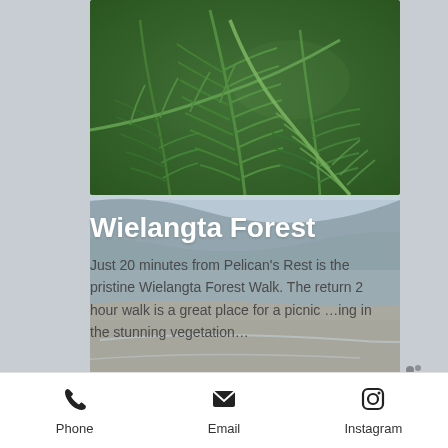[Figure (photo): Close-up photo of lush green fern leaves filling the frame]
[Figure (photo): Coastal landscape photo showing beach, sea, hills and cloudy sky in muted tones]
Wielangta Forest
Just 20 minutes from Pelican's Rest is the pristine Wielangta Forest Walk. The return 2 hour walk is a great place for a picnic …ing in the stunning vegetation…
[Figure (other): Blue button bar]
Phone   Email   Instagram